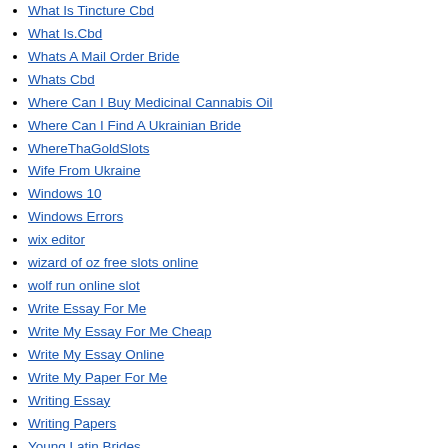What Is Tincture Cbd
What Is.Cbd
Whats A Mail Order Bride
Whats Cbd
Where Can I Buy Medicinal Cannabis Oil
Where Can I Find A Ukrainian Bride
WhereThaGoldSlots
Wife From Ukraine
Windows 10
Windows Errors
wix editor
wizard of oz free slots online
wolf run online slot
Write Essay For Me
Write My Essay For Me Cheap
Write My Essay Online
Write My Paper For Me
Writing Essay
Writing Papers
Young Latin Brides
zenfolio
zeus slot
Игровые автоматы
Казино
Онлайн казино